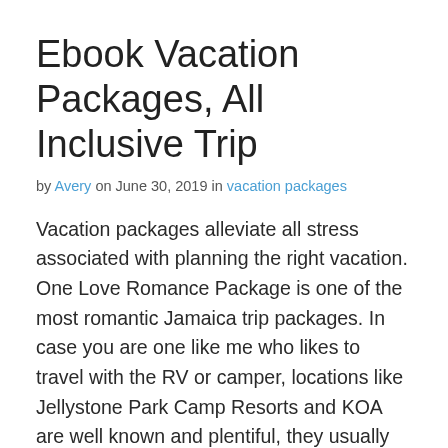Ebook Vacation Packages, All Inclusive Trip
by Avery on June 30, 2019 in vacation packages
Vacation packages alleviate all stress associated with planning the right vacation. One Love Romance Package is one of the most romantic Jamaica trip packages. In case you are one like me who likes to travel with the RV or camper, locations like Jellystone Park Camp Resorts and KOA are well known and plentiful, they usually offer many household actions that don't cost an arm and a leg.
It means infinite connoisseur eating, flowing premium drinks, thrilling activities day and night, and, because you booked with Liberty Travel, unique luxuries like resort credits and room upgrades. Pricing may differ